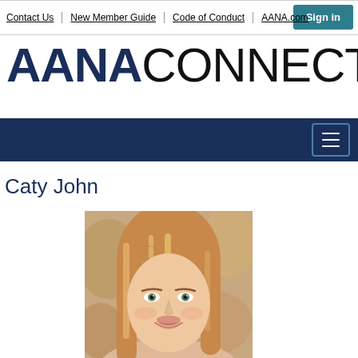Sign in | Contact Us | New Member Guide | Code of Conduct | AANA.com
AANACONNECT
[Figure (screenshot): Dark navy navigation bar with hamburger menu icon on right]
Caty John
[Figure (photo): Portrait photo of a young woman with strawberry-blonde hair, smiling, bokeh background]